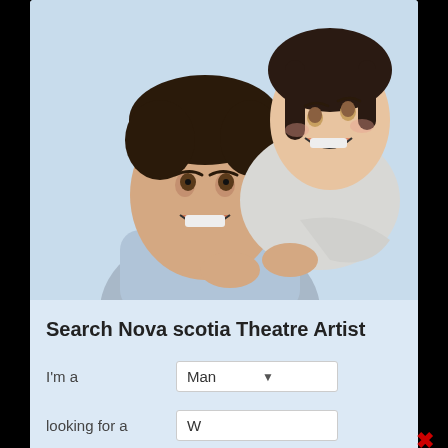[Figure (photo): A smiling couple, man in front with a woman hugging him from behind, both laughing, against a light blue background.]
Search Nova scotia Theatre Artist
I'm a
Man (dropdown)
looking for a
W... (dropdown, partially visible)